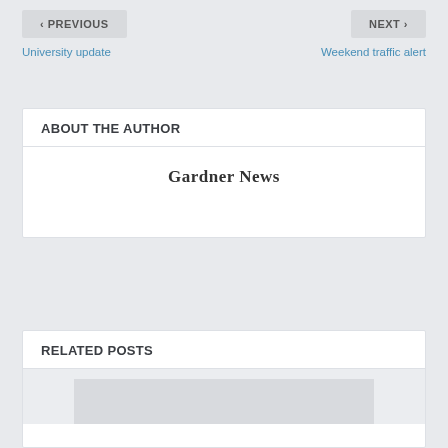< PREVIOUS
University update
NEXT >
Weekend traffic alert
ABOUT THE AUTHOR
Gardner News
RELATED POSTS